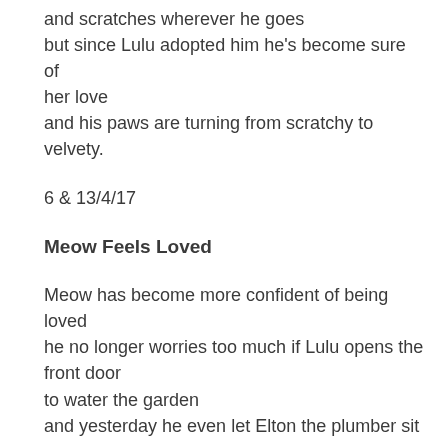and scratches wherever he goes
but since Lulu adopted him he’s become sure of her love
and his paws are turning from scratchy to velvety.
6 & 13/4/17
Meow Feels Loved
Meow has become more confident of being loved
he no longer worries too much if Lulu opens the front door
to water the garden
and yesterday he even let Elton the plumber sit on his sofa